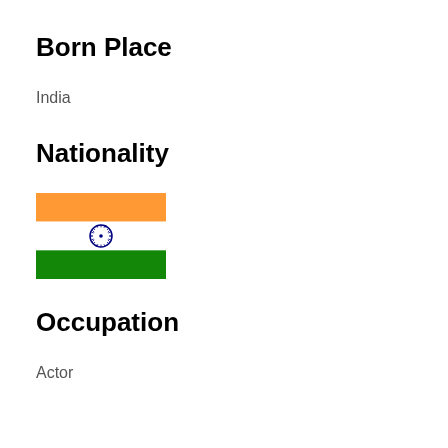Born Place
India
Nationality
[Figure (illustration): Indian flag emoji — three horizontal bands: saffron/orange on top, white in middle with navy blue Ashoka Chakra (24-spoke wheel), and dark green on bottom]
Occupation
Actor